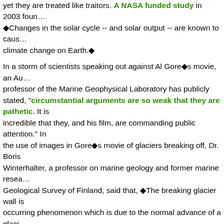yet they are treated like traitors. A NASA funded study in 2003 found that Changes in the solar cycle -- and solar output -- are known to cause climate change on Earth.
In a storm of scientists speaking out against Al Gore's movie, an Australian professor of the Marine Geophysical Laboratory has publicly stated, "circumstantial arguments are so weak that they are pathetic. It is incredible that they, and his film, are commanding public attention." In the use of images in Gore's movie of glaciers breaking off, Dr. Boris Winterhalter, a professor on marine geology and former marine researcher Geological Survey of Finland, said that, "The breaking glacier wall is occurring phenomenon which is due to the normal advance of a glacier sense, especially since history tells us that glaciers move, after all, they helped form our valleys and reshaped mountain ranges at the end of the ice age about 10,000 years ago. Maybe my memory isn't very good, but I don't think people were driving SUVs 10,000 years ago. Another clever use to manipulate facts that Gore has in his movie is that of a polar bear stranded on a piece of a broken off ice berg, stating that polar bears are extinct because of global warming. However, there are a few things wrong with this assessment, first of all, that according to a paper published by University of Alaska professor Igor Polyakov , "the region of the Arctic where rising temperature is supposedly endangering polar bears showed fluctuations since 1940 but no overall temperature rise." Secondly, if the polar bear is in danger according to Al Gore, then why does a recent government study in Canada show that they are not declining , but rather rising in numbers the very idea of a polar bear "stranded" on a small block of ice is misleading for Gore's argument, as polar bears are excellent swimmers; according to Sea World, "They can swim for several hours at a time distance [and] they've been tracked swimming continuously for